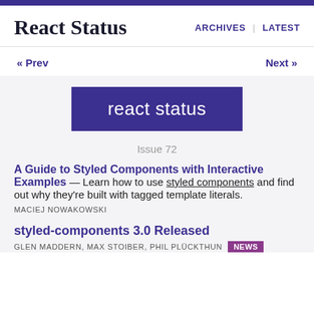React Status | ARCHIVES | LATEST
« Prev | Next »
[Figure (logo): React Status logo — purple rectangle with white text 'react status']
Issue 72
A Guide to Styled Components with Interactive Examples — Learn how to use styled components and find out why they're built with tagged template literals.
MACIEJ NOWAKOWSKI
styled-components 3.0 Released
GLEN MADDERN, MAX STOIBER, PHIL PLÜCKTHUN  NEWS